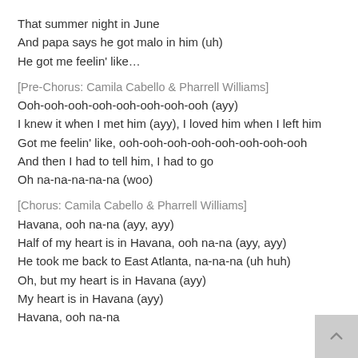That summer night in June
And papa says he got malo in him (uh)
He got me feelin' like…
[Pre-Chorus: Camila Cabello & Pharrell Williams]
Ooh-ooh-ooh-ooh-ooh-ooh-ooh-ooh (ayy)
I knew it when I met him (ayy), I loved him when I left him
Got me feelin' like, ooh-ooh-ooh-ooh-ooh-ooh-ooh-ooh
And then I had to tell him, I had to go
Oh na-na-na-na-na (woo)
[Chorus: Camila Cabello & Pharrell Williams]
Havana, ooh na-na (ayy, ayy)
Half of my heart is in Havana, ooh na-na (ayy, ayy)
He took me back to East Atlanta, na-na-na (uh huh)
Oh, but my heart is in Havana (ayy)
My heart is in Havana (ayy)
Havana, ooh na-na